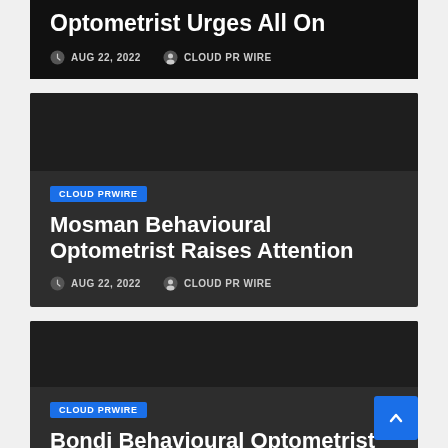Optometrist Urges All On
AUG 22, 2022   CLOUD PR WIRE
Mosman Behavioural Optometrist Raises Attention
AUG 22, 2022   CLOUD PR WIRE
Bondi Behavioural Optometrist Educates